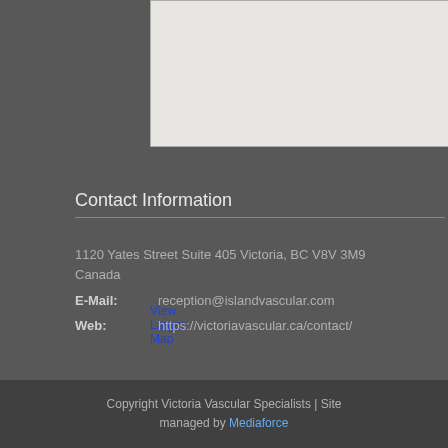[Figure (map): Embedded map showing location of Victoria Vascular Specialists office]
View Larger Map
Contact Information
1120 Yates Street Suite 405 Victoria, BC V8V 3M9 Canada
E-Mail:   reception@islandvascular.com
Web:   https://victoriavascular.ca/contact/
Copyright Victoria Vascular Specialists | Site managed by Mediaforce